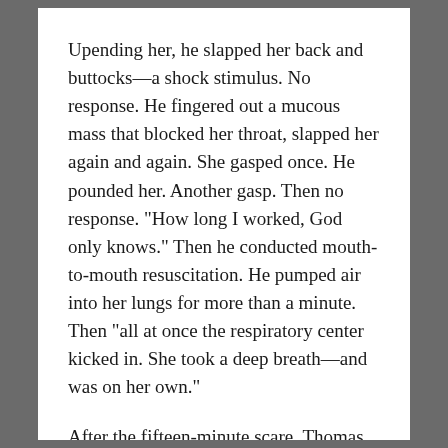Upending her, he slapped her back and buttocks—a shock stimulus. No response. He fingered out a mucous mass that blocked her throat, slapped her again and again. She gasped once. He pounded her. Another gasp. Then no response. “How long I worked, God only knows.” Then he conducted mouth-to-mouth resuscitation. He pumped air into her lungs for more than a minute. Then “all at once the respiratory center kicked in. She took a deep breath—and was on her own.”
After the fifteen-minute scare, Thomas wrapped baby Colo in towels and took her to the warm boiler room. Warren Thomas became a star that day.[2]